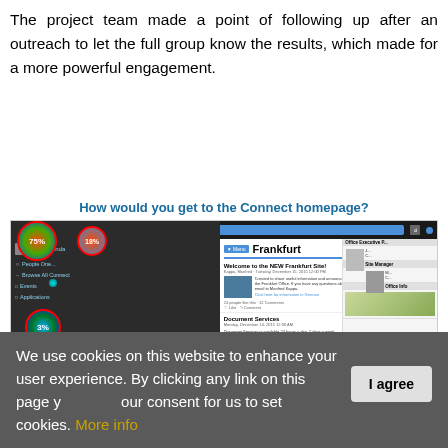The project team made a point of following up after an outreach to let the full group know the results, which made for a more powerful engagement.
How would you get to the Connect homepage?
[Figure (screenshot): Screenshot of a Connect intranet homepage for Frankfurt office, showing navigation sidebar with percentage overlays (75%, 18%, 3%), a Frankfurt welcome post with city photo, Document Services post, and right sidebar with Office Executive, Site Manager, and Office Info panels.]
We use cookies on this website to enhance your user experience. By clicking any link on this page you give your consent for us to set cookies. More info